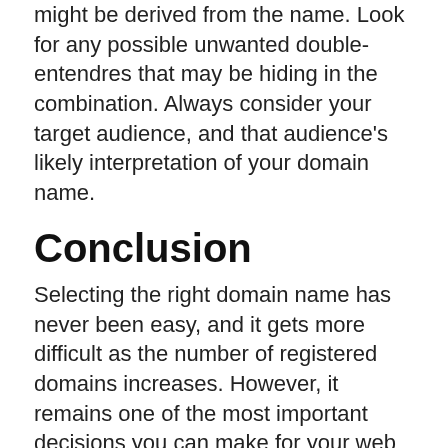might be derived from the name. Look for any possible unwanted double-entendres that may be hiding in the combination. Always consider your target audience, and that audience's likely interpretation of your domain name.
Conclusion
Selecting the right domain name has never been easy, and it gets more difficult as the number of registered domains increases. However, it remains one of the most important decisions you can make for your web site.
A good process is to select a number of possible names, and then ask for comments from disinterested third parties. Play the word association game to discover what associations the name invokes, and to uncover any unintended meanings or difficulties. Ask